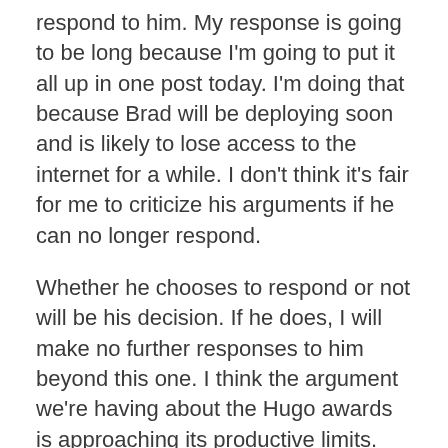respond to him. My response is going to be long because I'm going to put it all up in one post today. I'm doing that because Brad will be deploying soon and is likely to lose access to the internet for a while. I don't think it's fair for me to criticize his arguments if he can no longer respond.
Whether he chooses to respond or not will be his decision. If he does, I will make no further responses to him beyond this one. I think the argument we're having about the Hugo awards is approaching its productive limits.
I will make one more post in a day or so, but that one will deal purely with my own practical suggestions for ways I think the Hugo awards could be improved.